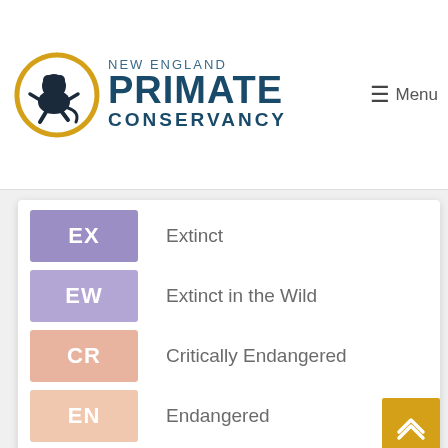[Figure (logo): New England Primate Conservancy logo with monkey silhouette in a golden circle arc, text 'NEW ENGLAND PRIMATE CONSERVANCY']
EX — Extinct
EW — Extinct in the Wild
CR — Critically Endangered
EN — Endangered
VU — Vulnerable